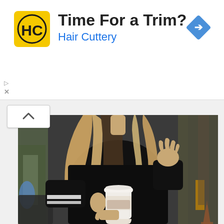[Figure (other): Hair Cuttery advertisement banner. Yellow square logo with HC letters, bold text 'Time For a Trim?' and blue subtext 'Hair Cuttery'. Blue diamond arrow icon top right. Small play and X controls bottom left of banner.]
[Figure (photo): Fashion photo of a woman wearing a black sweater with white stripes on the sleeves, holding a white to-go coffee cup. She has long wavy blonde/ombre hair. Urban street background, blurred. Orange traffic cone visible bottom right.]